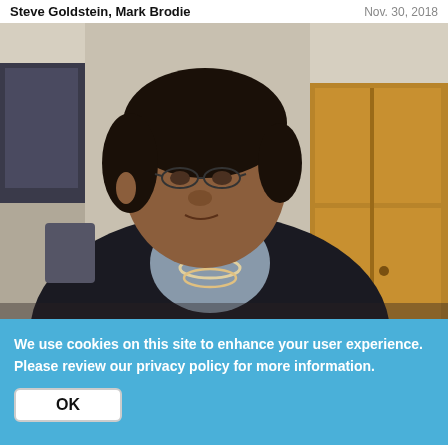Steve Goldstein, Mark Brodie  Nov. 30, 2018
[Figure (photo): A man with glasses and dark hair wearing a dark suit jacket with a beaded necklace, sitting in an office or conference room setting with wooden cabinetry in the background.]
We use cookies on this site to enhance your user experience. Please review our privacy policy for more information.
OK